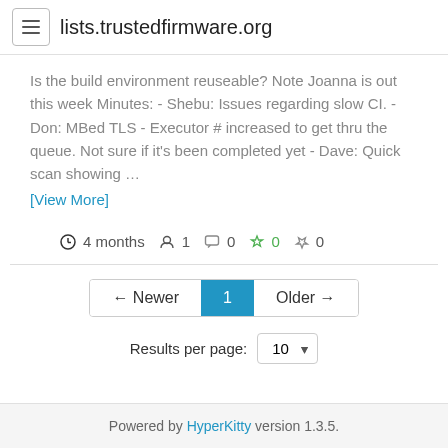lists.trustedfirmware.org
Is the build environment reuseable? Note Joanna is out this week Minutes: - Shebu: Issues regarding slow CI. - Don: MBed TLS - Executor # increased to get thru the queue. Not sure if it's been completed yet - Dave: Quick scan showing …
[View More]
4 months  1  0  0  0
← Newer  1  Older →
Results per page: 10
Powered by HyperKitty version 1.3.5.